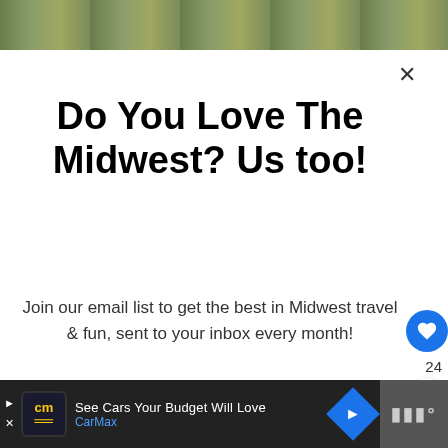[Figure (photo): Landscape photo of Midwest farmland with trees, shown as a strip at the top of the page]
Do You Love The Midwest? Us too!
Join our email list to get the best in Midwest travel & fun, sent to your inbox every month!
Email address
Subscribe
24
WHAT'S NEXT → 15 Small Towns in...
See Cars Your Budget Will Love CarMax